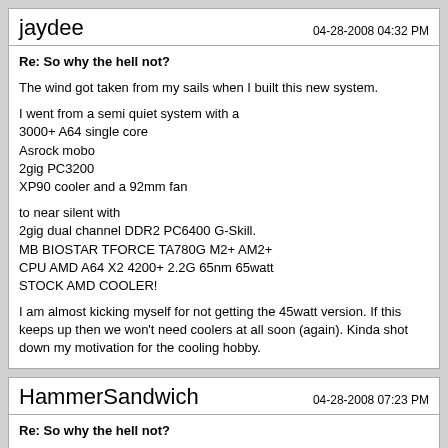jaydee   04-28-2008 04:32 PM
Re: So why the hell not?
The wind got taken from my sails when I built this new system.

I went from a semi quiet system with a
3000+ A64 single core
Asrock mobo
2gig PC3200
XP90 cooler and a 92mm fan

to near silent with
2gig dual channel DDR2 PC6400 G-Skill.
MB BIOSTAR TFORCE TA780G M2+ AM2+
CPU AMD A64 X2 4200+ 2.2G 65nm 65watt
STOCK AMD COOLER!

I am almost kicking myself for not getting the 45watt version. If this keeps up then we won't need coolers at all soon (again). Kinda shot down my motivation for the cooling hobby.
HammerSandwich   04-28-2008 07:23 PM
Re: So why the hell not?